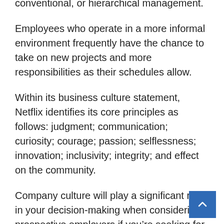conventional, or hierarchical management.
Employees who operate in a more informal environment frequently have the chance to take on new projects and more responsibilities as their schedules allow.
Within its business culture statement, Netflix identifies its core principles as follows: judgment; communication; curiosity; courage; passion; selflessness; innovation; inclusivity; integrity; and effect on the community.
Company culture will play a significant role in your decision-making when considering prospective employers if you’re seeking for a place to work where you’ll like coming to work every day.